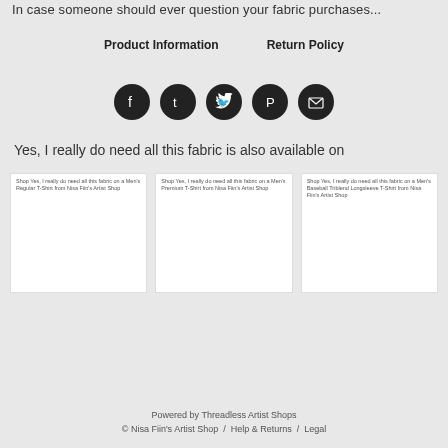In case someone should ever question your fabric purchases...
Product Information   Return Policy
[Figure (infographic): Five social media icon circles in dark/black: Facebook, Tumblr, Twitter, Pinterest, Email]
Yes, I really do need all this fabric is also available on
[Figure (screenshot): Three product cards side by side. Card 1: 'Shop Yes, I really do need all this fabric on a Men's Regular T-Shirt from Nisa Fiin's Artist Shop'. Card 2: 'Shop Yes, I really do need all this fabric on a Men's Premium T-Shirt from Nisa Fiin's Artist Shop'. Card 3: 'Shop Yes, I really do need all this fabric on a Men's Baseball Triblend Longsleeve T-Shirt from Nisa Fiin's Artist Shop'.]
Powered by Threadless Artist Shops
© Nisa Fiin's Artist Shop  /  Help & Returns  /  Legal